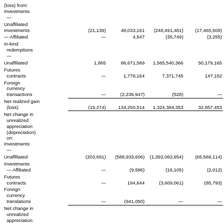|  | Col1 | Col2 | Col3 | Col4 |
| --- | --- | --- | --- | --- |
| (loss) from: Investments — |  |  |  |  |
| Unaffiliated Investments | (21,139) | 48,033,161 | (248,491,481) | (17,465,609) |
| Investments — Affiliated | — | 4,547 | (35,749) | (3,255) |
| In-kind redemptions — |  |  |  |  |
| Unaffiliated | 1,865 | 86,671,589 | 1,565,540,366 | 50,179,165 |
| Futures contracts | — | 1,778,164 | 7,371,745 | 147,152 |
| Foreign currency transactions | — | (2,236,947) | (528) | — |
| Net realized gain (loss) | (19,274) | 134,250,514 | 1,324,384,353 | 32,857,453 |
| Net change in unrealized appreciation (depreciation) on: Investments — |  |  |  |  |
| Unaffiliated | (203,691) | (588,933,606) | (1,392,082,654) | (65,568,114) |
| Investments — Affiliated | — | (9,586) | (16,105) | (2,012) |
| Futures contracts | — | 194,644 | (3,609,061) | (85,793) |
| Foreign currency translations | — | (941,050) | — | — |
| Net change in unrealized appreciation (depreciation) | (203,691) | (589,689,598) | (1,395,707,820) | (65,655,919) |